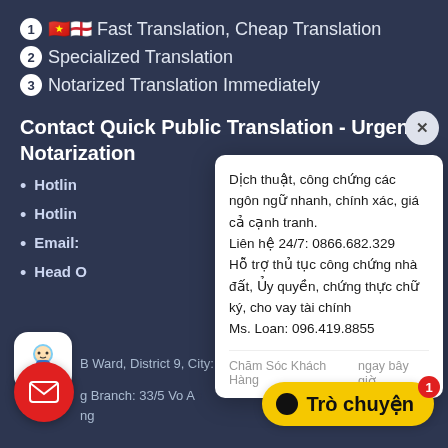❶ 🇻🇳🇬🇧 Fast Translation, Cheap Translation
❷ Specialized Translation
❸ Notarized Translation Immediately
Contact Quick Public Translation - Urgent Notarization
• Hotline:
• Hotline:
• Email:
• Head Office:
B Ward, District 9, City: Ho Chi Minh
• Branch: 33/5 Vo An...
[Figure (infographic): White popup chat box overlay with Vietnamese text: 'Dịch thuật, công chứng các ngôn ngữ nhanh, chính xác, giá cả cạnh tranh. Liên hệ 24/7: 0866.682.329 Hỗ trợ thủ tục công chứng nhà đất, Ủy quyền, chứng thực chữ ký, cho vay tài chính Ms. Loan: 096.419.8855'. Footer shows 'Chăm Sóc Khách Hàng' and 'ngay bây giờ'. Close X button. Avatar icon, email button (red circle), Trò chuyện chat button (yellow), badge showing 1.]